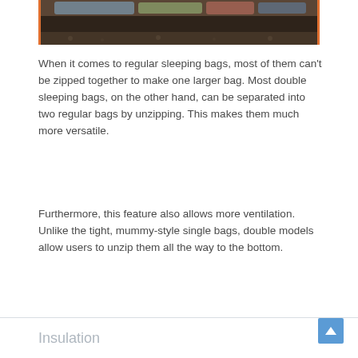[Figure (photo): Partial view of a camping tent interior with sleeping bags and gear, brown/dark colored tent fabric visible from above]
When it comes to regular sleeping bags, most of them can't be zipped together to make one larger bag. Most double sleeping bags, on the other hand, can be separated into two regular bags by unzipping. This makes them much more versatile.
Furthermore, this feature also allows more ventilation. Unlike the tight, mummy-style single bags, double models allow users to unzip them all the way to the bottom.
Insulation